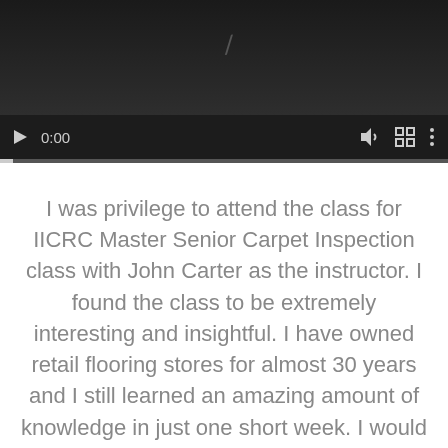[Figure (screenshot): Video player showing a paused video at 0:00 with dark background and a diagonal slash mark visible. Controls include play button, time display (0:00), volume icon, fullscreen icon, and more options (three dots). A progress bar is shown at the bottom.]
I was privilege to attend the class for IICRC Master Senior Carpet Inspection class with John Carter as the instructor. I found the class to be extremely interesting and insightful. I have owned retail flooring stores for almost 30 years and I still learned an amazing amount of knowledge in just one short week. I would highly recommend this